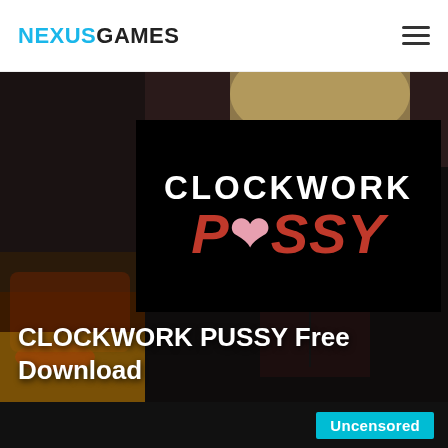NEXUSGAMES
[Figure (illustration): Hero image for Clockwork Pussy game page. Background shows a figure in a red corset and black leather jacket with blonde hair. Overlaid is a black rectangle with the game title logo: 'CLOCKWORK' in white bold text and 'PUSSY' in large red italic text with a pink heart replacing one letter. Below the image area the title text reads: CLOCKWORK PUSSY Free Download. A cyan 'Uncensored' badge appears in the bottom right corner.]
CLOCKWORK PUSSY Free Download